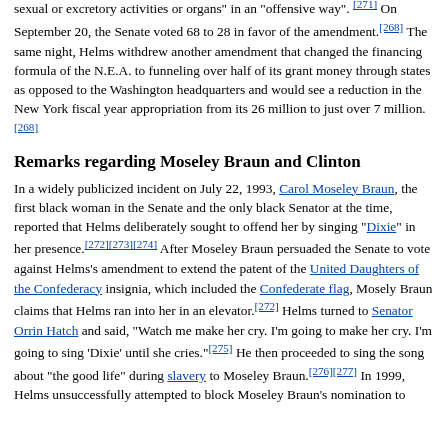sexual or excretory activities or organs" in an "offensive way".[271] On September 20, the Senate voted 68 to 28 in favor of the amendment.[268] The same night, Helms withdrew another amendment that changed the financing formula of the N.E.A. to funneling over half of its grant money through states as opposed to the Washington headquarters and would see a reduction in the New York fiscal year appropriation from its 26 million to just over 7 million.[268]
Remarks regarding Moseley Braun and Clinton
In a widely publicized incident on July 22, 1993, Carol Moseley Braun, the first black woman in the Senate and the only black Senator at the time, reported that Helms deliberately sought to offend her by singing "Dixie" in her presence.[272][273][274] After Moseley Braun persuaded the Senate to vote against Helms's amendment to extend the patent of the United Daughters of the Confederacy insignia, which included the Confederate flag, Mosely Braun claims that Helms ran into her in an elevator.[272] Helms turned to Senator Orrin Hatch and said, "Watch me make her cry. I'm going to make her cry. I'm going to sing 'Dixie' until she cries."[275] He then proceeded to sing the song about "the good life" during slavery to Moseley Braun.[276][277] In 1999, Helms unsuccessfully attempted to block Moseley Braun's nomination to